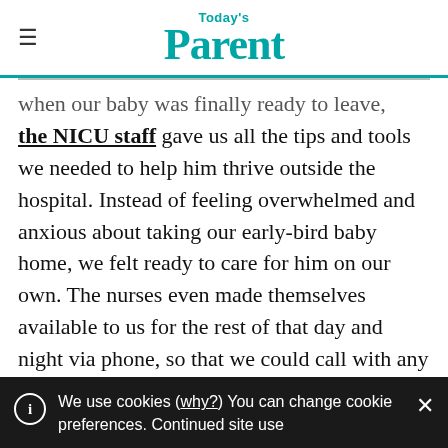Today's Parent
when our baby was finally ready to leave, the NICU staff gave us all the tips and tools we needed to help him thrive outside the hospital. Instead of feeling overwhelmed and anxious about taking our early-bird baby home, we felt ready to care for him on our own. The nurses even made themselves available to us for the rest of that day and night via phone, so that we could call with any questions or concerns until we visited his new pediatrician the following morning
We use cookies (why?) You can change cookie preferences. Continued site use